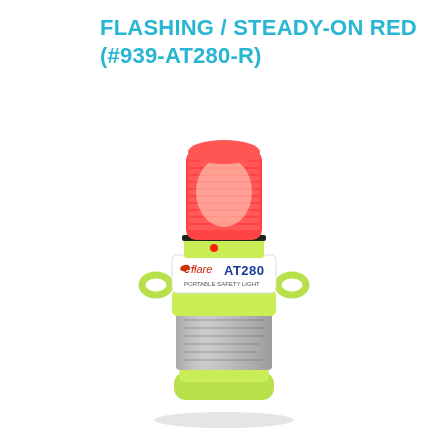FLASHING / STEADY-ON RED (#939-AT280-R)
[Figure (photo): Product photo of an eFlare AT280 emergency flashing light in yellow-green housing with a red LED dome on top. The device has a cylindrical body with mounting tabs on the sides, a silver label band in the middle showing 'eFlare AT280' branding, a metallic battery compartment label area at the bottom, and a red indicator light on the neck below the dome.]